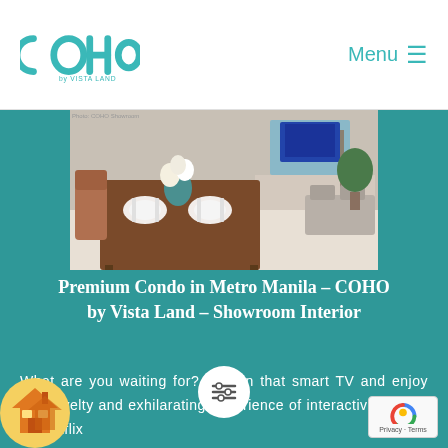[Figure (logo): COHO by Vista Land logo in teal/turquoise color]
Menu ≡
[Figure (photo): Interior photo of a premium condo showroom featuring a wooden dining table set with white plates and flowers, and a living area with sofa and plants in the background]
Premium Condo in Metro Manila – COHO by Vista Land – Showroom Interior
What are you waiting for? Plug in that smart TV and enjoy the novelty and exhilarating experience of interactive movies on Netflix